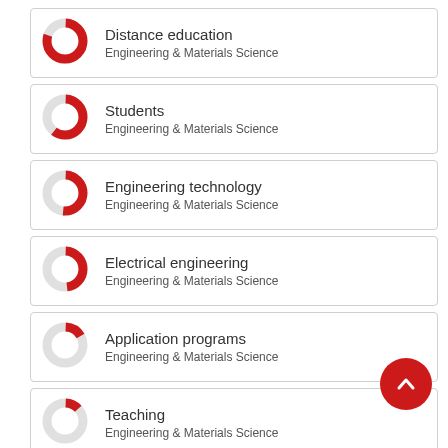Distance education — Engineering & Materials Science
Students — Engineering & Materials Science
Engineering technology — Engineering & Materials Science
Electrical engineering — Engineering & Materials Science
Application programs — Engineering & Materials Science
Teaching — Engineering & Materials Science
Websites — Engineering & Materials Science
[Figure (other): Scroll-to-top button (red circle with upward chevron)]